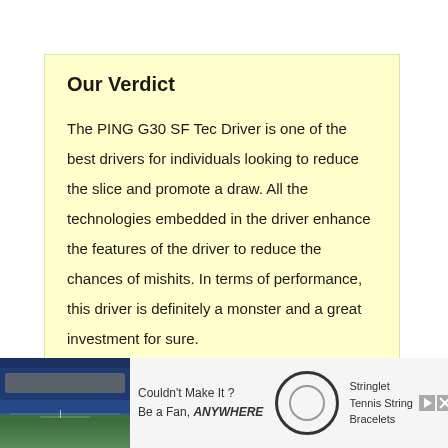Our Verdict
The PING G30 SF Tec Driver is one of the best drivers for individuals looking to reduce the slice and promote a draw. All the technologies embedded in the driver enhance the features of the driver to reduce the chances of mishits. In terms of performance, this driver is definitely a monster and a great investment for sure.
[Figure (photo): Advertisement banner showing a tennis stadium photo, text 'Couldn't Make It? Be a Fan, ANYWHERE', Stringlet logo circle, text 'Stringlet Tennis String Bracelets', and a red 'Get 1 for FREE!' CTA button]